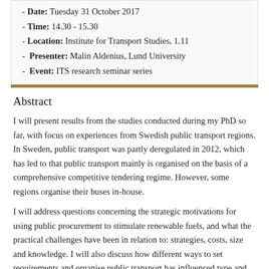- Date: Tuesday 31 October 2017
- Time: 14.30 - 15.30
- Location: Institute for Transport Studies, 1.11
- Presenter: Malin Aldenius, Lund University
- Event: ITS research seminar series
Abstract
I will present results from the studies conducted during my PhD so far, with focus on experiences from Swedish public transport regions. In Sweden, public transport was partly deregulated in 2012, which has led to that public transport mainly is organised on the basis of a comprehensive competitive tendering regime. However, some regions organise their buses in-house.
I will address questions concerning the strategic motivations for using public procurement to stimulate renewable fuels, and what the practical challenges have been in relation to: strategies, costs, size and knowledge. I will also discuss how different ways to set requirements and organise public transport has influenced type and share of renewable fuels in regions, as well as which challenges and opportunities they have experienced. The findings come from